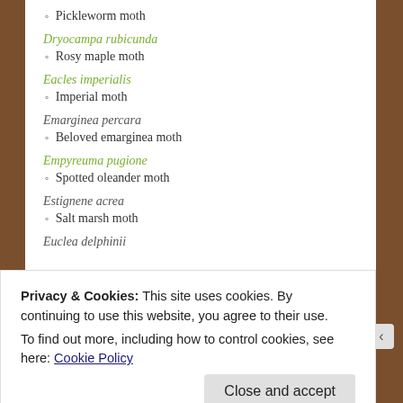◦ Pickleworm moth
Dryocampa rubicunda
◦ Rosy maple moth
Eacles imperialis
◦ Imperial moth
Emarginea percara
◦ Beloved emarginea moth
Empyreuma pugione
◦ Spotted oleander moth
Estignene acrea
◦ Salt marsh moth
Euclea delphinii
Privacy & Cookies: This site uses cookies. By continuing to use this website, you agree to their use.
To find out more, including how to control cookies, see here: Cookie Policy